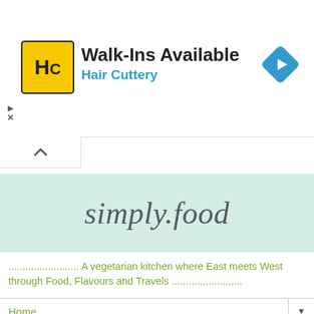[Figure (infographic): Hair Cuttery advertisement banner. Yellow square logo with HC initials, text 'Walk-Ins Available' in bold, 'Hair Cuttery' in blue, and a blue diamond navigation arrow icon on the right.]
[Figure (logo): simply.food blog logo in cursive script on a light mint/teal background]
......................... A vegetarian kitchen where East meets West through Food, Flavours and Travels .........................
Home
Wednesday, 29 May 2019
Flavoured fruit waters and a Zero
[Figure (infographic): Social sharing icons row: Twitter bird, Facebook f, Email envelope, WhatsApp, SMS speech bubble, and share/rotate icon — all in olive/green color]